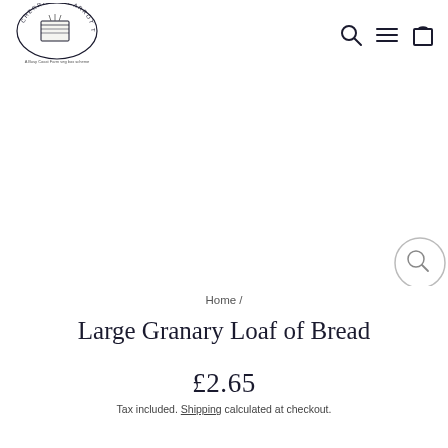Cherries & Carrot Tops — A Busy Coast Farm veg box scheme
[Figure (logo): Cherries & Carrot Tops circular logo with farm illustration and text 'A Busy Coast Farm veg box scheme']
[Figure (infographic): Large white product image area (product photo of bread, mostly white/blank in this view). Circle magnifier zoom button overlay at bottom right.]
Home /
Large Granary Loaf of Bread
£2.65
Tax included. Shipping calculated at checkout.